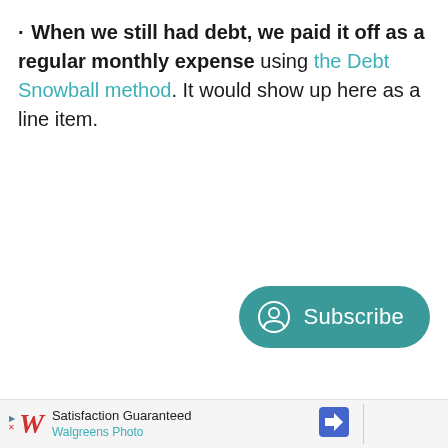When we still had debt, we paid it off as a regular monthly expense using the Debt Snowball method. It would show up here as a line item.
[Figure (other): Teal rounded Subscribe button with user/person icon]
[Figure (other): Walgreens Photo advertisement banner at bottom of page with satisfaction guaranteed text and navigation arrow icon]